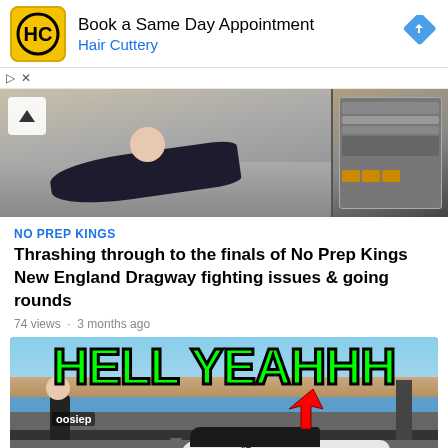[Figure (screenshot): Hair Cuttery advertisement banner with HC logo, text 'Book a Same Day Appointment / Hair Cuttery' and blue navigation arrow icon]
[Figure (photo): Two-panel image strip: left shows a person lying on pavement, right shows an engine/mechanical detail]
NO PREP KINGS
Thrashing through to the finals of No Prep Kings New England Dragway fighting issues & going rounds
74 views · 3 months ago
[Figure (photo): Video thumbnail showing 'HELL YEAHHH' in large green text over a drag racing scene with a white race car at the starting line, red arrow pointing to the car, and 'Hoosier' branding visible]